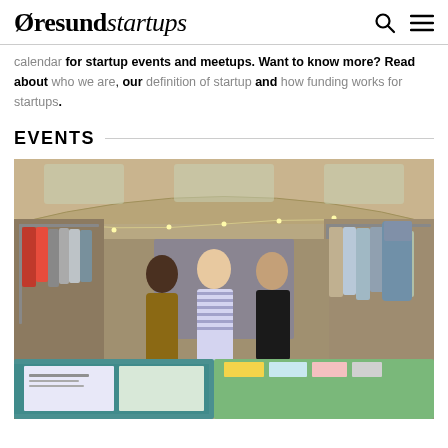Øresundstartups
calendar for startup events and meetups. Want to know more? Read about who we are, our definition of startup and how funding works for startups.
EVENTS
[Figure (photo): Three people standing together in a market or pop-up shop with clothes on racks; they are in a barn-like venue with string lights. A display table with items is visible in the foreground.]